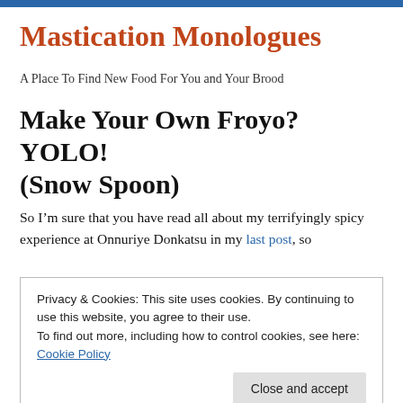Mastication Monologues
A Place To Find New Food For You and Your Brood
Make Your Own Froyo? YOLO! (Snow Spoon)
So I’m sure that you have read all about my terrifyingly spicy experience at Onnuriye Donkatsu in my last post, so
Privacy & Cookies: This site uses cookies. By continuing to use this website, you agree to their use.
To find out more, including how to control cookies, see here: Cookie Policy
Close and accept
in Hongdae, Seoul. You came out of exit 9 at the Hongik